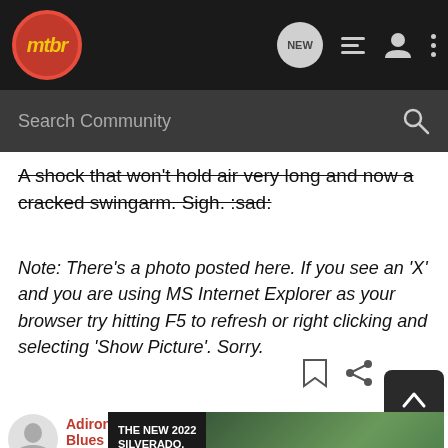[Figure (screenshot): MTBR forum website navigation bar with logo, NEW chat bubble icon, list icon, user icon, and more options dots]
[Figure (screenshot): Search Community input bar on dark background]
A shock that won't hold air very long and now a cracked swingarm. Sigh. :sad:
Note: There's a photo posted here. If you see an 'X' and you are using MS Internet Explorer as your browser try hitting F5 to refresh or right clicking and selecting 'Show Picture'. Sorry.
Adirondack Blues · Nervous Descender
[Figure (screenshot): Chevrolet 2022 Silverado advertisement banner with Explore button]